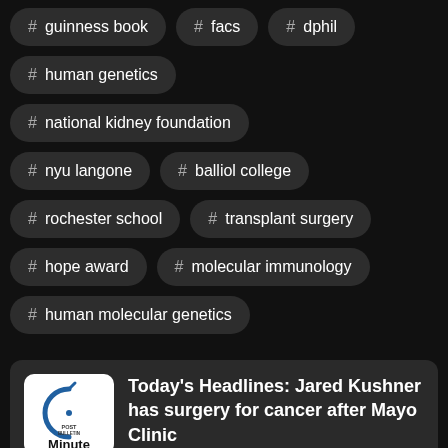# guinness book
# facs
# dphil
# human genetics
# national kidney foundation
# nyu langone
# balliol college
# rochester school
# transplant surgery
# hope award
# molecular immunology
# human molecular genetics
Today's Headlines: Jared Kushner has surgery for cancer after Mayo Clinic